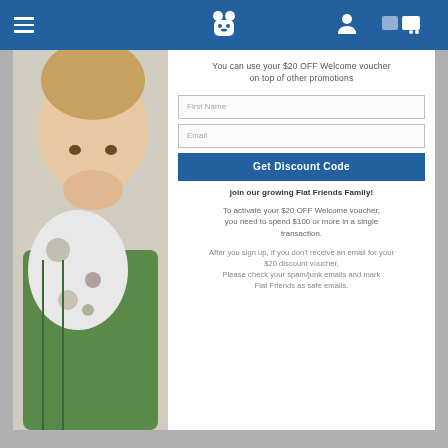[Figure (screenshot): Blue navigation header bar with hamburger menu icon on left, bear/toy icon in center, person icon and cart icon on right]
[Figure (photo): Child smiling and hugging a spotted plush toy animal, wearing a green checkered shirt]
You can use your $20 OFF Welcome voucher on top of other promotions
First Name
Email
Get Discount Code
join our growing Flat Friends Family!
To activate your $20 OFF Welcome voucher, you need to spend $100 or more in a single transaction.
After you sign up, if you don't receive an email for your $20 discount voucher, Please check your spam/junk emails and mark Flat Friends as safe emails.